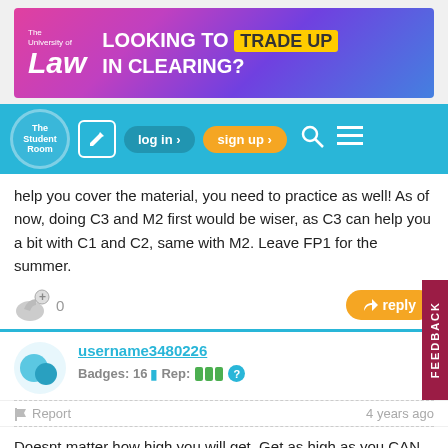[Figure (screenshot): University of Law advertisement banner: 'LOOKING TO TRADE UP IN CLEARING?']
[Figure (screenshot): The Student Room navigation bar with log in, sign up, search and menu buttons]
help you cover the material, you need to practice as well! As of now, doing C3 and M2 first would be wiser, as C3 can help you a bit with C1 and C2, same with M2. Leave FP1 for the summer.
[Figure (screenshot): Like button with count 0 and reply button]
[Figure (screenshot): User avatar icon for username3480226]
username3480226
Badges: 16  Rep: ???  ?
Report   4 years ago
Doesnt matter how high you will get. Get as high as you CAN get
[Figure (screenshot): Like button with count 0 and reply button]